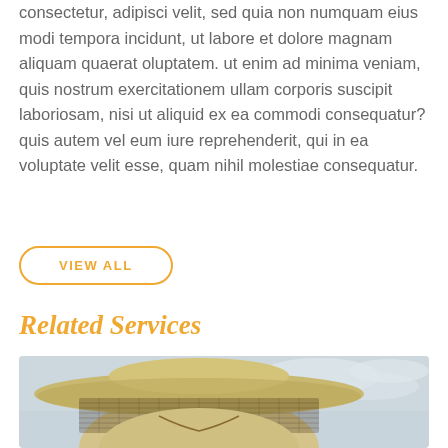consectetur, adipisci velit, sed quia non numquam eius modi tempora incidunt, ut labore et dolore magnam aliquam quaerat oluptatem. ut enim ad minima veniam, quis nostrum exercitationem ullam corporis suscipit laboriosam, nisi ut aliquid ex ea commodi consequatur? quis autem vel eum iure reprehenderit, qui in ea voluptate velit esse, quam nihil molestiae consequatur.
VIEW ALL
Related Services
[Figure (photo): A person wearing a beekeeping protective suit with a wide-brimmed hat and mesh veil, photographed from above/side angle against a cloudy sky background.]